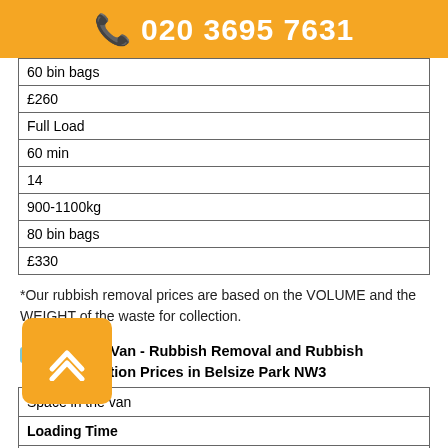☎ 020 3695 7631
| 60 bin bags |
| £260 |
| Full Load |
| 60 min |
| 14 |
| 900-1100kg |
| 80 bin bags |
| £330 |
*Our rubbish removal prices are based on the VOLUME and the WEIGHT of the waste for collection.
Luton Van - Rubbish Removal and Rubbish Collection Prices in Belsize Park NW3
| Space in the van |
| Loading Time |
| Cubic Yards |